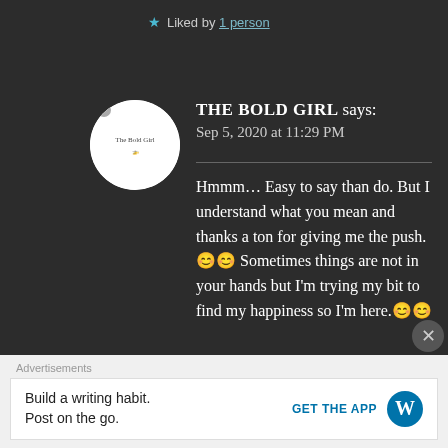★ Liked by 1 person
[Figure (logo): The Bold Girl avatar - circular white logo with helicopter and text]
THE BOLD GIRL says: Sep 5, 2020 at 11:29 PM
Hmmm… Easy to say than do. But I understand what you mean and thanks a ton for giving me the push.😊😊 Sometimes things are not in your hands but I'm trying my bit to find my happiness so I'm here.😊😊
Advertisements
Build a writing habit. Post on the go. GET THE APP